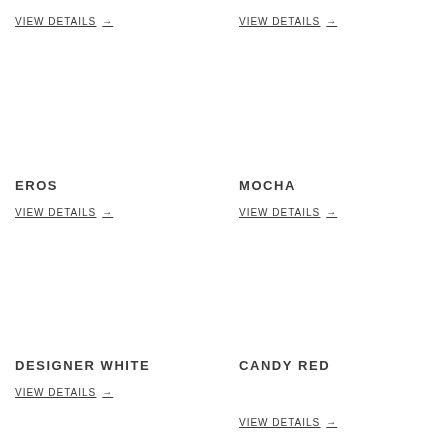VIEW DETAILS →
VIEW DETAILS →
EROS
VIEW DETAILS →
MOCHA
VIEW DETAILS →
DESIGNER WHITE
VIEW DETAILS →
CANDY RED
VIEW DETAILS →